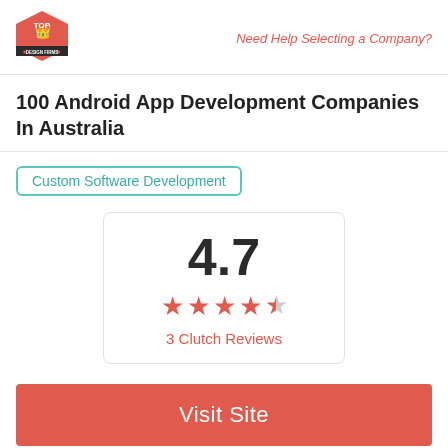[Figure (logo): Top Design Firms badge logo - red hexagon with crown icon]
Need Help Selecting a Company?
100 Android App Development Companies In Australia
Custom Software Development
[Figure (infographic): Rating card showing 4.7 score with 5 red stars and '3 Clutch Reviews' text]
Visit Site